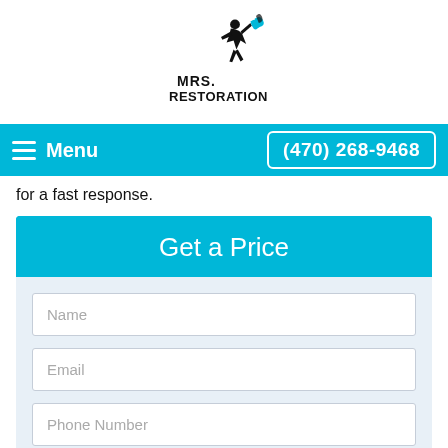[Figure (logo): Mrs. Restoration logo: silhouette of a running woman with water and fire, bold text 'MRS. RESTORATION']
Menu   (470) 268-9468
for a fast response.
Get a Price
Name
Email
Phone Number